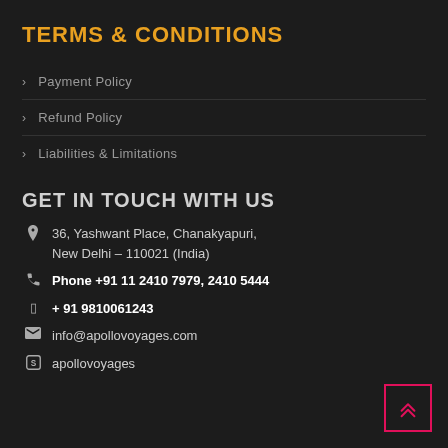TERMS & CONDITIONS
Payment Policy
Refund Policy
Liabilities & Limitations
GET IN TOUCH WITH US
36, Yashwant Place, Chanakyapuri, New Delhi – 110021 (India)
Phone +91 11 2410 7979, 2410 5444
+ 91 9810061243
info@apollovoyages.com
apollovoyages